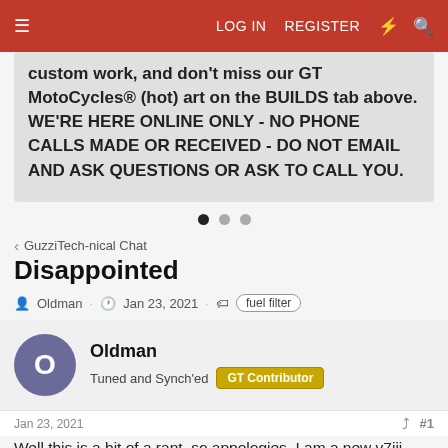≡  LOG IN  REGISTER
custom work, and don't miss our GT MotoCycles® (hot) art on the BUILDS tab above. WE'RE HERE ONLINE ONLY - NO PHONE CALLS MADE OR RECEIVED - DO NOT EMAIL AND ASK QUESTIONS OR ASK TO CALL YOU.
GuzziTech-nical Chat
Disappointed
Oldman · Jan 23, 2021 · fuel filter
Oldman
Tuned and Synch'ed  GT Contributor
Jan 23, 2021  #1
Well this is a bit of a rant, so appologies. I am a new v7iii owner but before this gets moved my rant is non model specific. I currently own a Desert Sled alongside the MG and wanted a long legged bike that was reliable and fun to ride. I am just